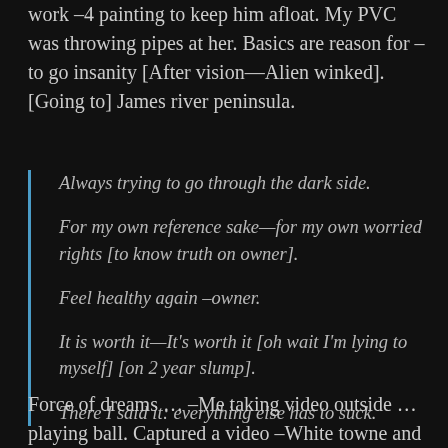work –4 painting to keep him afloat. My PVC was throwing pipes at her. Basics are reason for – to go insanity [After vision—Alien winked]. [Going to] James river peninsula.
Always trying to go through the dark side.
For my own reference sake—for my own worried rights [to know truth on owner].
Feel healthy again –owner.
It is worth it—It's worth it [oh wait I'm lying to myself] [on 2 year slump].
There I said it: everything else has to suck.
Force of dreams … –Me taking video outside … playing ball. Captured a video –White towne and